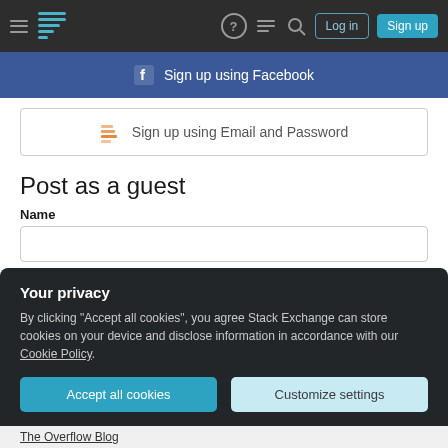Stack Exchange navigation bar with hamburger menu, logo, help, chat, search icons, Log in and Sign up buttons
Sign up using Facebook
Sign up using Email and Password
Post as a guest
Name
Email
Required, but never shown
Your privacy
By clicking "Accept all cookies", you agree Stack Exchange can store cookies on your device and disclose information in accordance with our Cookie Policy.
Accept all cookies
Customize settings
The Overflow Blog